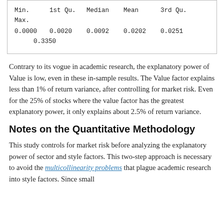| Min. | 1st Qu. | Median | Mean | 3rd Qu. | Max. |
| --- | --- | --- | --- | --- | --- |
| 0.0000 | 0.0020 | 0.0092 | 0.0202 | 0.0251 | 0.3350 |
Contrary to its vogue in academic research, the explanatory power of Value is low, even in these in-sample results. The Value factor explains less than 1% of return variance, after controlling for market risk. Even for the 25% of stocks where the value factor has the greatest explanatory power, it only explains about 2.5% of return variance.
Notes on the Quantitative Methodology
This study controls for market risk before analyzing the explanatory power of sector and style factors. This two-step approach is necessary to avoid the multicollinearity problems that plague academic research into style factors. Since small